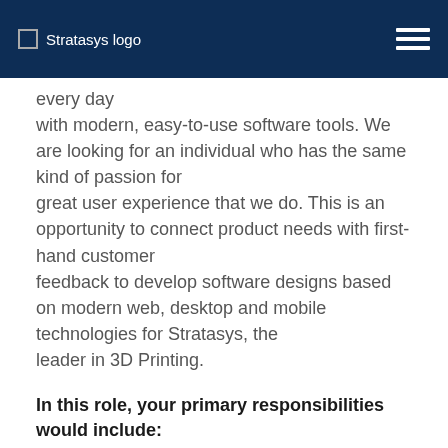Stratasys logo
every day
with modern, easy-to-use software tools. We are looking for an individual who has the same kind of passion for
great user experience that we do. This is an opportunity to connect product needs with first-hand customer
feedback to develop software designs based on modern web, desktop and mobile technologies for Stratasys, the
leader in 3D Printing.
In this role, your primary responsibilities would include:
Conceptualize and prototype user experiences for web, desktop and mobile